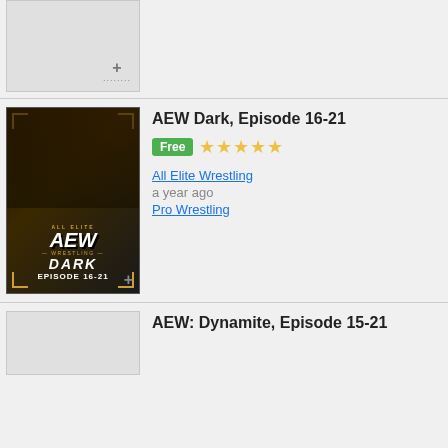[Figure (screenshot): Partial thumbnail placeholder with plus icon and dots at the bottom right corner, light gray background]
[Figure (photo): AEW Dark Episode 16-21 promotional poster with wrestlers on dark gold background and AEW Wrestling logo]
AEW Dark, Episode 16-21
Free  ★★★★★
All Elite Wrestling
a year ago
Pro Wrestling
[Figure (screenshot): Partial thumbnail placeholder, light gray background, bottom of page]
AEW: Dynamite, Episode 15-21